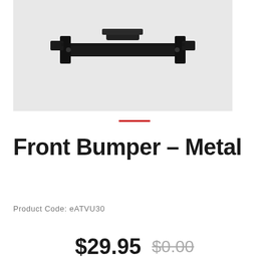[Figure (photo): A black metal front bumper component photographed against a light gray background. The part has a horizontal bar with mounting brackets on each end.]
Front Bumper - Metal
Product Code: eATVU30
$29.95  $0.00